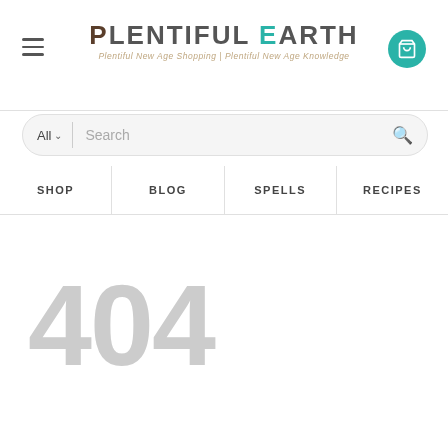[Figure (logo): Plentiful Earth website logo with tagline 'Plentiful New Age Shopping | Plentiful New Age Knowledge']
Search bar with All category dropdown
SHOP | BLOG | SPELLS | RECIPES navigation bar
404